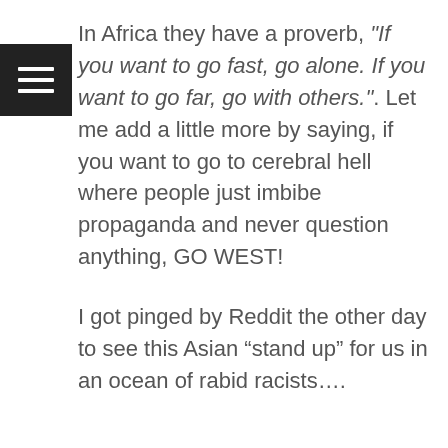[Figure (other): Hamburger menu icon — three horizontal white lines on a black square background]
In Africa they have a proverb, "If you want to go fast, go alone. If you want to go far, go with others.". Let me add a little more by saying, if you want to go to cerebral hell where people just imbibe propaganda and never question anything, GO WEST!
I got pinged by Reddit the other day to see this Asian “stand up” for us in an ocean of rabid racists….